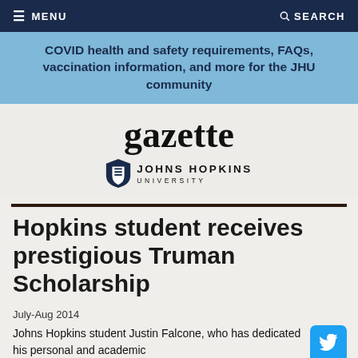MENU   SEARCH
COVID health and safety requirements, FAQs, vaccination information, and more for the JHU community
[Figure (logo): Johns Hopkins Gazette logo with shield emblem and 'JOHNS HOPKINS UNIVERSITY' text]
Hopkins student receives prestigious Truman Scholarship
July-Aug 2014
Johns Hopkins student Justin Falcone, who has dedicated his personal and academic